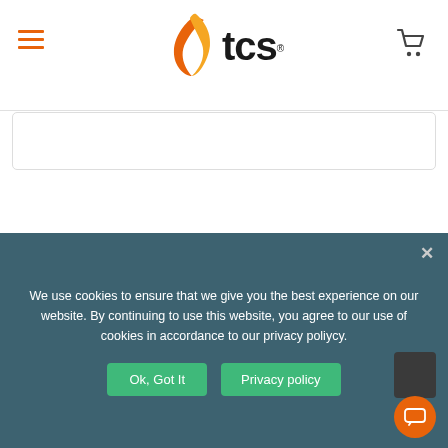TCS logo header with hamburger menu and cart icon
[Figure (logo): TCS logo with orange leaf and tcs text]
[Figure (logo): Benco Dental logo - Benco in blue bold, Dental in green bold]
Benco Dental
4
295 Center Point Blvd
We use cookies to ensure that we give you the best experience on our website. By continuing to use this website, you agree to our use of cookies in accordance to our privacy poliycy.
Ok, Got It
Privacy policy